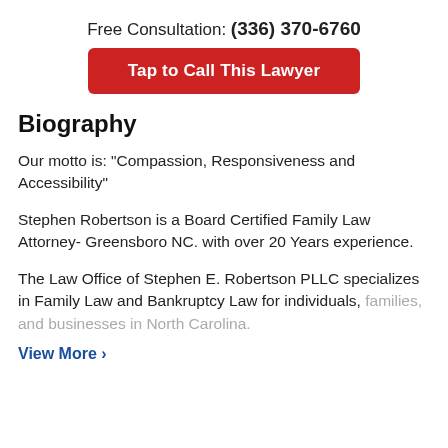Free Consultation: (336) 370-6760
[Figure (other): Red button with white bold text: Tap to Call This Lawyer]
Biography
Our motto is: "Compassion, Responsiveness and Accessibility"
Stephen Robertson is a Board Certified Family Law Attorney- Greensboro NC. with over 20 Years experience.
The Law Office of Stephen E. Robertson PLLC specializes in Family Law and Bankruptcy Law for individuals, families, and businesses in North Carolina.
View More ›